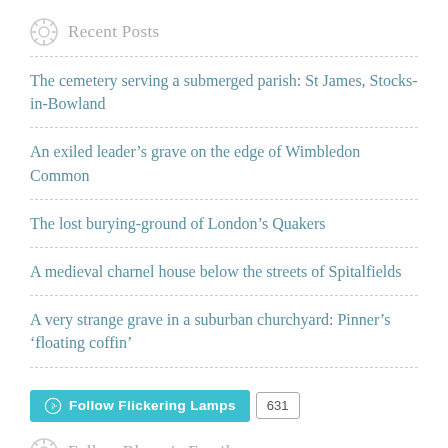Recent Posts
The cemetery serving a submerged parish: St James, Stocks-in-Bowland
An exiled leader’s grave on the edge of Wimbledon Common
The lost burying-ground of London’s Quakers
A medieval charnel house below the streets of Spitalfields
A very strange grave in a suburban churchyard: Pinner’s ‘floating coffin’
[Figure (other): Follow Flickering Lamps button with WordPress logo and follower count 631]
Follow Blog via Email